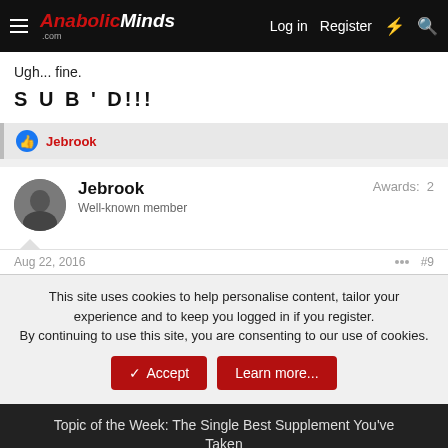AnabolicMinds.com | Log in | Register
Ugh... fine.
S U B ' D!!!
Jebrook
Jebrook
Well-known member
Awards: 2
Aug 22, 2016  #9
This site uses cookies to help personalise content, tailor your experience and to keep you logged in if you register.
By continuing to use this site, you are consenting to our use of cookies.
Topic of the Week: The Single Best Supplement You've Taken